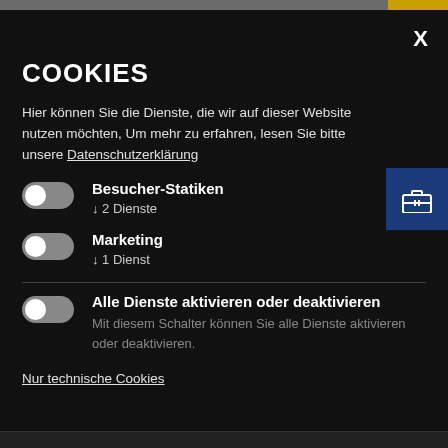COOKIES
Hier können Sie die Dienste, die wir auf dieser Website nutzen möchten, Um mehr zu erfahren, lesen Sie bitte unsere Datenschutzerklärung
Besucher-Statiken
↓ 2 Dienste
Marketing
↓ 1 Dienst
Alle Dienste aktivieren oder deaktivieren
Mit diesem Schalter können Sie alle Dienste aktivieren oder deaktivieren.
Nur technische Cookies